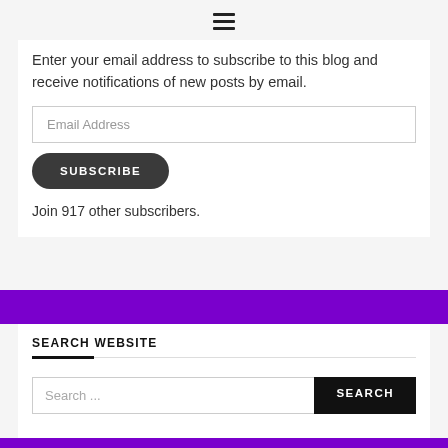[Figure (other): Hamburger menu icon (three horizontal lines) at top center of page]
Enter your email address to subscribe to this blog and receive notifications of new posts by email.
Email Address
SUBSCRIBE
Join 917 other subscribers.
SEARCH WEBSITE
Search ...
SEARCH